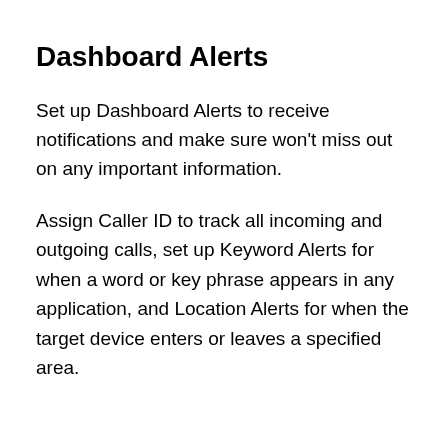Dashboard Alerts
Set up Dashboard Alerts to receive notifications and make sure won't miss out on any important information.
Assign Caller ID to track all incoming and outgoing calls, set up Keyword Alerts for when a word or key phrase appears in any application, and Location Alerts for when the target device enters or leaves a specified area.